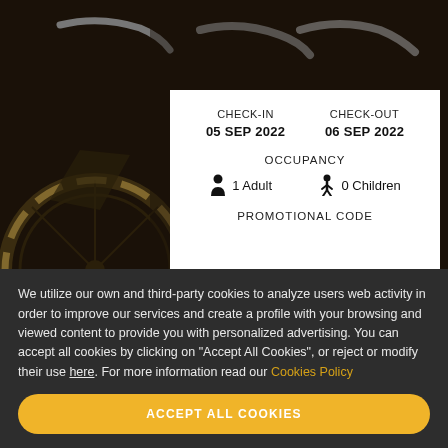[Figure (photo): Background photo of bicycles parked together, dark moody tones]
CHECK-IN
05 SEP 2022
CHECK-OUT
06 SEP 2022
OCCUPANCY
1 Adult
0 Children
PROMOTIONAL CODE
We utilize our own and third-party cookies to analyze users web activity in order to improve our services and create a profile with your browsing and viewed content to provide you with personalized advertising. You can accept all cookies by clicking on "Accept All Cookies", or reject or modify their use here. For more information read our Cookies Policy
ACCEPT ALL COOKIES